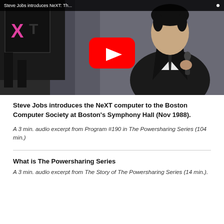[Figure (screenshot): YouTube video thumbnail showing Steve Jobs in a black suit holding a microphone, with the NeXT logo cube visible in the upper left. A red YouTube play button is centered on the image. A title bar at top reads 'Steve Jobs introduces NeXT: Th...' with a settings icon.]
Steve Jobs introduces the NeXT computer to the Boston Computer Society at Boston's Symphony Hall (Nov 1988).
A 3 min. audio excerpt from Program #190 in The Powersharing Series (104 min.)
What is The Powersharing Series
A 3 min. audio excerpt from The Story of The Powersharing Series (14 min.).